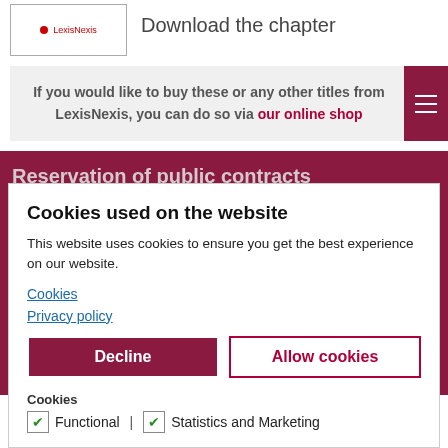[Figure (logo): LexisNexis book thumbnail with red dot logo]
Download the chapter
If you would like to buy these or any other titles from LexisNexis, you can do so via our online shop
Reservation of public contracts
This entry... August 2016 | Lexis...
Cookies used on the website
This website uses cookies to ensure you get the best experience on our website.
Cookies
Privacy policy
Decline | Allow cookies
Cookies | Functional | Statistics and Marketing